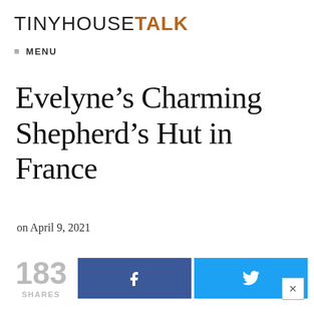TINYHOUSETALK
≡ MENU
Evelyne’s Charming Shepherd’s Hut in France
on April 9, 2021
183 SHARES
[Figure (other): Facebook share button (dark blue with f icon) and Twitter share button (light blue with bird icon)]